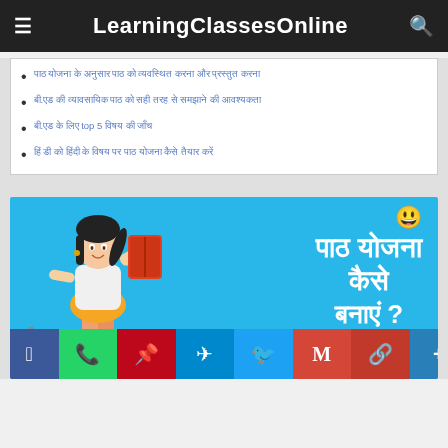LearningClassesOnline
पाठ योजना के अनुसार पाठ को व्यवस्थित करना और प्रस्तुत करना
बी.एड की व्यावसायिक पाठ को सही तरह से समझाने की आवश्यकता
बी.एड के लिए top 5 विषय की जाँच
हिं डी को हिंदी के विषय पर पाठ योजना कैसे तैयार करें
[Figure (illustration): Educational illustration showing a woman teacher holding a book with Hindi text reading 'पाठ योजना कैसे बनाएं?' on a blue background, with a smiley face emoji. Below are social sharing buttons for Facebook, WhatsApp, Pinterest, Telegram, Twitter, Gmail, link copy, and more.]